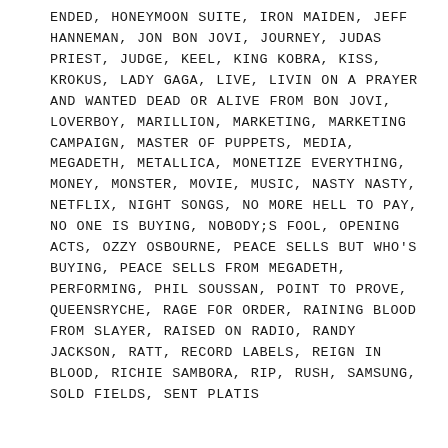ENDED, HONEYMOON SUITE, IRON MAIDEN, JEFF HANNEMAN, JON BON JOVI, JOURNEY, JUDAS PRIEST, JUDGE, KEEL, KING KOBRA, KISS, KROKUS, LADY GAGA, LIVE, LIVIN ON A PRAYER AND WANTED DEAD OR ALIVE FROM BON JOVI, LOVERBOY, MARILLION, MARKETING, MARKETING CAMPAIGN, MASTER OF PUPPETS, MEDIA, MEGADETH, METALLICA, MONETIZE EVERYTHING, MONEY, MONSTER, MOVIE, MUSIC, NASTY NASTY, NETFLIX, NIGHT SONGS, NO MORE HELL TO PAY, NO ONE IS BUYING, NOBODY;S FOOL, OPENING ACTS, OZZY OSBOURNE, PEACE SELLS BUT WHO'S BUYING, PEACE SELLS FROM MEGADETH, PERFORMING, PHIL SOUSSAN, POINT TO PROVE, QUEENSRYCHE, RAGE FOR ORDER, RAINING BLOOD FROM SLAYER, RAISED ON RADIO, RANDY JACKSON, RATT, RECORD LABELS, REIGN IN BLOOD, RICHIE SAMBORA, RIP, RUSH, SAMSUNG, SOLD FIELDS, SENT PLATIS